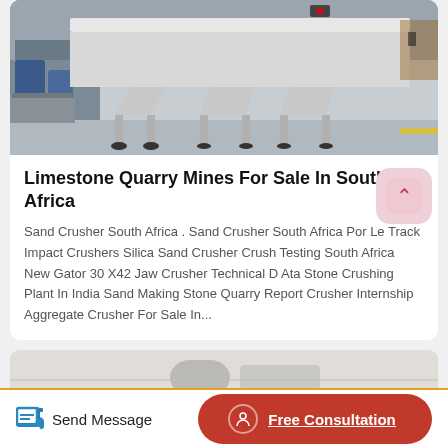[Figure (photo): Industrial vibrating screen / sieving machine with white metal frame and legs on a factory floor, with blue machinery in the background]
Limestone Quarry Mines For Sale In South Africa
Sand Crusher South Africa . Sand Crusher South Africa Por Le Track Impact Crushers Silica Sand Crusher Crush Testing South Africa New Gator 30 X42 Jaw Crusher Technical D Ata Stone Crushing Plant In India Sand Making Stone Quarry Report Crusher Internship Aggregate Crusher For Sale In...
[Figure (photo): Partial view of another industrial machine, cropped at bottom of page]
Send Message
Free Consultation